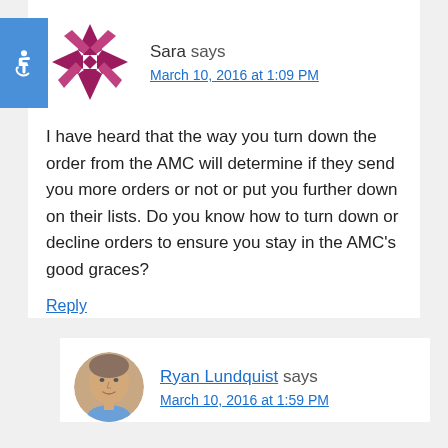[Figure (logo): Accessibility icon (wheelchair symbol) in blue square badge, and a pink/maroon decorative quilt-star logo for Sara's avatar]
Sara says
March 10, 2016 at 1:09 PM
I have heard that the way you turn down the order from the AMC will determine if they send you more orders or not or put you further down on their lists. Do you know how to turn down or decline orders to ensure you stay in the AMC's good graces?
Reply
[Figure (photo): Round avatar photo of Ryan Lundquist, a middle-aged man in a blue shirt]
Ryan Lundquist says
March 10, 2016 at 1:59 PM